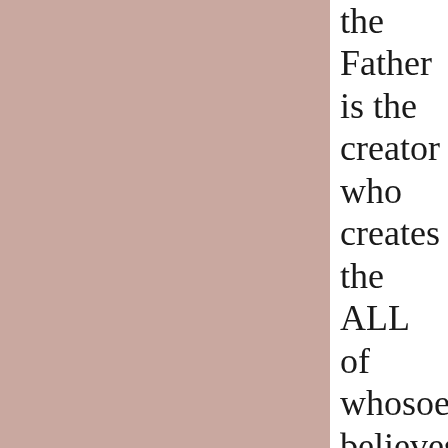the Father is the creator who creates the ALL of whosoever believes in His Son to be saved to become NEW CREATURE created IN Jesus Christ